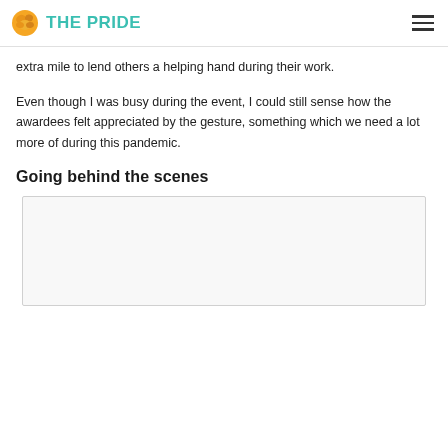THE PRIDE
extra mile to lend others a helping hand during their work.
Even though I was busy during the event, I could still sense how the awardees felt appreciated by the gesture, something which we need a lot more of during this pandemic.
Going behind the scenes
[Figure (photo): A photo placeholder shown as a light grey bordered rectangle]